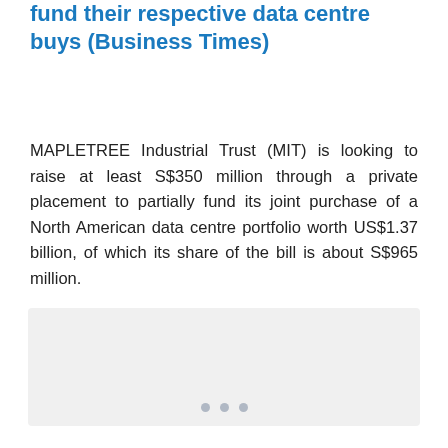fund their respective data centre buys (Business Times)
MAPLETREE Industrial Trust (MIT) is looking to raise at least S$350 million through a private placement to partially fund its joint purchase of a North American data centre portfolio worth US$1.37 billion, of which its share of the bill is about S$965 million.
[Figure (other): Placeholder image area with three dots indicating a loading carousel or image slideshow.]